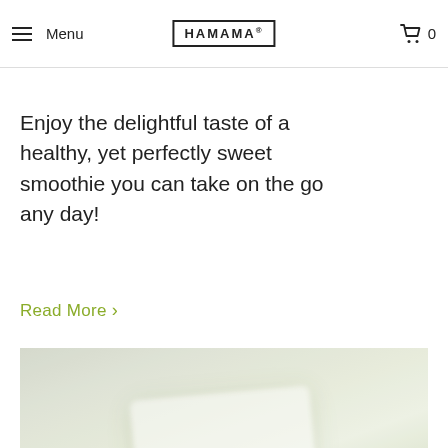Menu | HAMAMA | 0
Broccoli Microgreens
Cucumber Sc...
Enjoy the delightful taste of a healthy, yet perfectly sweet smoothie you can take on the go any day!
Read More >
[Figure (photo): Blurred product image of HAMAMA microgreen growing kit on a light green/grey background]